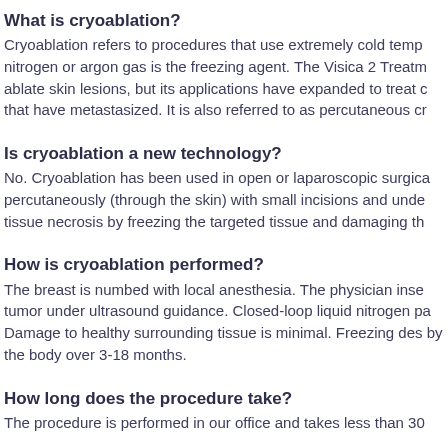What is cryoablation?
Cryoablation refers to procedures that use extremely cold temp nitrogen or argon gas is the freezing agent. The Visica 2 Treatm ablate skin lesions, but its applications have expanded to treat c that have metastasized. It is also referred to as percutaneous cr
Is cryoablation a new technology?
No. Cryoablation has been used in open or laparoscopic surgica percutaneously (through the skin) with small incisions and unde tissue necrosis by freezing the targeted tissue and damaging th
How is cryoablation performed?
The breast is numbed with local anesthesia. The physician inse tumor under ultrasound guidance. Closed-loop liquid nitrogen pa Damage to healthy surrounding tissue is minimal. Freezing des by the body over 3-18 months.
How long does the procedure take?
The procedure is performed in our office and takes less than 30